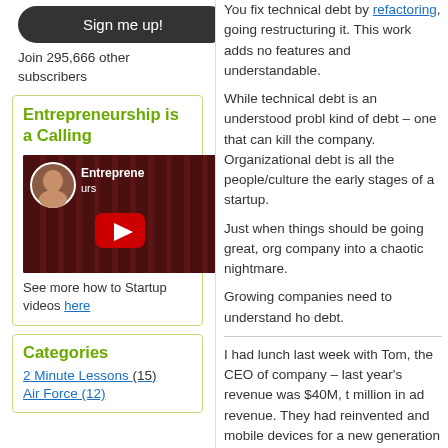Sign me up!
Join 295,666 other subscribers
Entrepreneurship is a Calling
[Figure (screenshot): YouTube video thumbnail for 'Entrepreneurs' with a speaker and YouTube play button]
See more how to Startup videos here
Categories
2 Minute Lessons (15)
Air Force (12)
You fix technical debt by refactoring, going restructuring it. This work adds no features and understandable.
While technical debt is an understood probl kind of debt – one that can kill the company Organizational debt is all the people/culture the early stages of a startup.
Just when things should be going great, org company into a chaotic nightmare.
Growing companies need to understand ho debt.
I had lunch last week with Tom, the CEO of company – last year's revenue was $40M, t million in ad revenue. They had reinvented and mobile devices for a new generation of magazines but reading online. Their conten Equally important their VP of Marketing had campaigns (Facebook likes and partnership their site, which they then turned into ad rev
Tom was excited about their next round of a billion dollars. He talked about how they we told he...